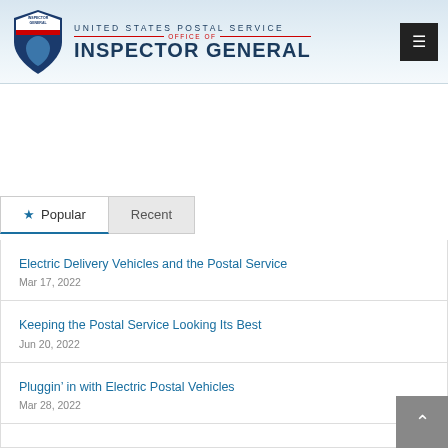[Figure (logo): USPS Office of Inspector General logo with shield and text]
Popular
Recent
Electric Delivery Vehicles and the Postal Service
Mar 17, 2022
Keeping the Postal Service Looking Its Best
Jun 20, 2022
Pluggin’ in with Electric Postal Vehicles
Mar 28, 2022